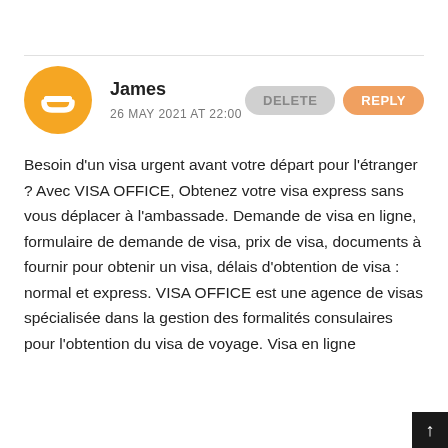James
26 MAY 2021 AT 22:00
Besoin d'un visa urgent avant votre départ pour l'étranger ? Avec VISA OFFICE, Obtenez votre visa express sans vous déplacer à l'ambassade. Demande de visa en ligne, formulaire de demande de visa, prix de visa, documents à fournir pour obtenir un visa, délais d'obtention de visa : normal et express. VISA OFFICE est une agence de visas spécialisée dans la gestion des formalités consulaires pour l'obtention du visa de voyage. Visa en ligne